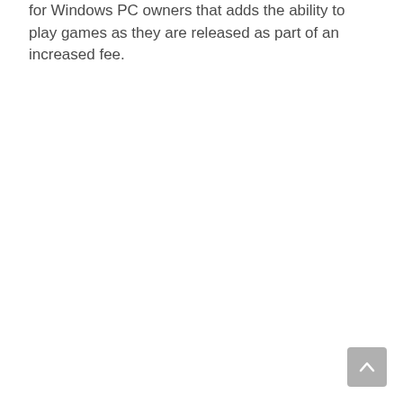for Windows PC owners that adds the ability to play games as they are released as part of an increased fee.